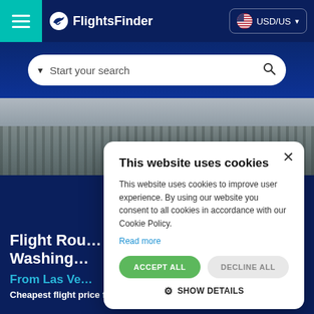FlightsFinder — USD/US
Start your search
[Figure (photo): Aerial view of a snow-covered forest landscape with bare trees]
Flight Rou… Washing…
From Las Ve…
Cheapest flight price found from Las Vegas
This website uses cookies

This website uses cookies to improve user experience. By using our website you consent to all cookies in accordance with our Cookie Policy.

Read more

ACCEPT ALL   DECLINE ALL

SHOW DETAILS